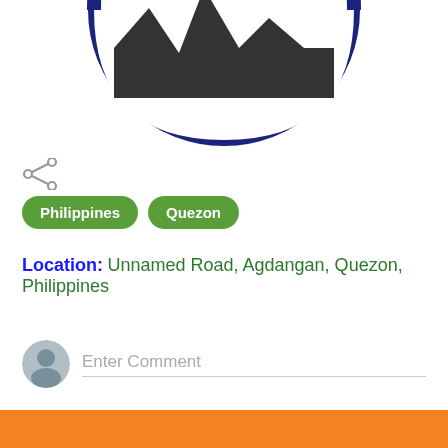[Figure (logo): Circular logo with dark navy blue border, white background, and silhouette of mountains/landscape inside the top half]
[Figure (other): Share icon (less-than sign with three dots), grey colored]
Philippines   Quezon
Location: Unnamed Road, Agdangan, Quezon, Philippines
Enter Comment